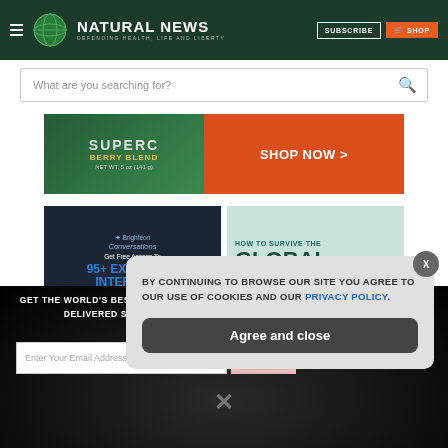NATURAL NEWS — DEFENDING HEALTH, LIFE AND LIBERTY | SUBSCRIBE | SHOP
What are you searching for?
[Figure (photo): Super C Berry Blend product ad with SHOP NOW button]
[Figure (photo): Brighteon Conversations — Get Free Access To 95+ EXCLUSIVE INTERVIEWS From The Health Ranger]
[Figure (photo): HOW TO SURVIVE THE GLOBAL RESET ad banner]
GET THE WORLD'S BEST NATURAL HEALTH NEWSLETTER DELIVERED STRAIGHT TO YOUR INBOX
Enter Your Email Address
SUBSCRIBE
BY CONTINUING TO BROWSE OUR SITE YOU AGREE TO OUR USE OF COOKIES AND OUR PRIVACY POLICY.
Agree and close